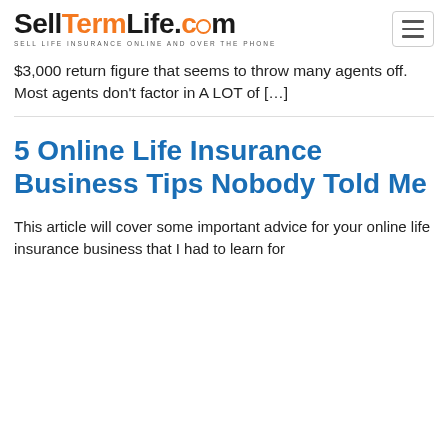SellTermLife.com — SELL LIFE INSURANCE ONLINE AND OVER THE PHONE
$3,000 return figure that seems to throw many agents off.  Most agents don't factor in A LOT of […]
5 Online Life Insurance Business Tips Nobody Told Me
This article will cover some important advice for your online life insurance business that I had to learn for